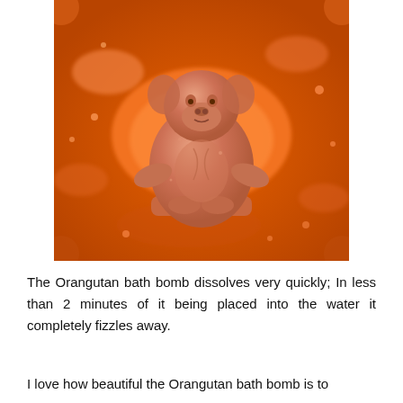[Figure (photo): Close-up photo of an orangutan-shaped bath bomb sitting in orange fizzing water. The bath bomb is terracotta/orange colored and molded in the shape of a sitting orangutan/monkey figure. The surrounding water is bright orange with foam and bubbles.]
The Orangutan bath bomb dissolves very quickly; In less than 2 minutes of it being placed into the water it completely fizzles away.
I love how beautiful the Orangutan bath bomb is to